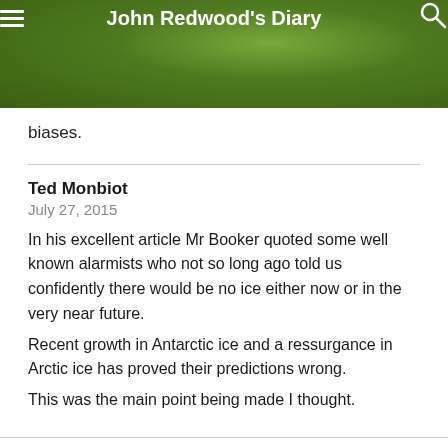John Redwood's Diary
biases.
Ted Monbiot
July 27, 2015
In his excellent article Mr Booker quoted some well known alarmists who not so long ago told us confidently there would be no ice either now or in the very near future.
Recent growth in Antarctic ice and a ressurgance in Arctic ice has proved their predictions wrong.
This was the main point being made I thought.